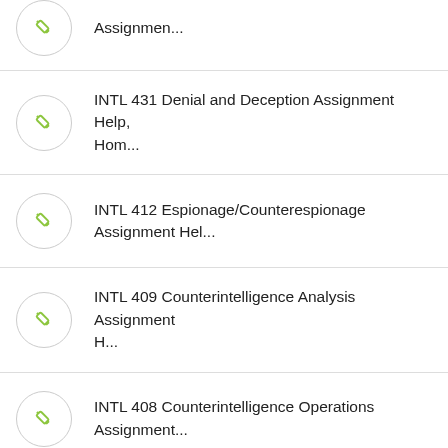Assignmen...
INTL 431 Denial and Deception Assignment Help, Hom...
INTL 412 Espionage/Counterespionage Assignment Hel...
INTL 409 Counterintelligence Analysis Assignment H...
INTL 408 Counterintelligence Operations Assignment...
Popular Subjects Covered